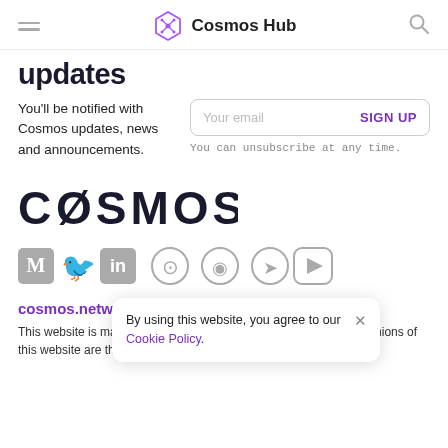Cosmos Hub
updates
You'll be notified with Cosmos updates, news and announcements.
Your email   SIGN UP
You can unsubscribe at any time.
[Figure (logo): COSMOS logo in large bold dark text]
[Figure (infographic): Social media icons: Medium, Twitter, LinkedIn, GitHub, Reddit, Telegram, YouTube]
cosmos.netwo...
By using this website, you agree to our Cookie Policy.
This website is maintained by Tendermint Inc. The contents and opinions of this website are those of Tendermint Inc.